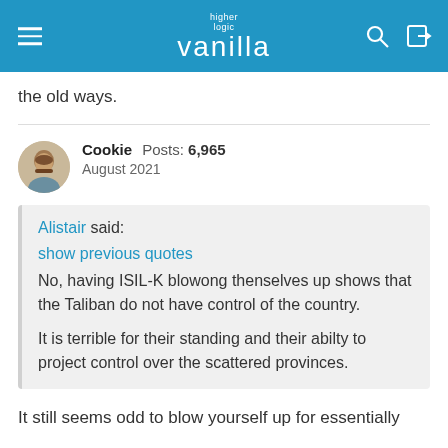higher logic vanilla
the old ways.
Cookie  Posts: 6,965
August 2021
Alistair said:
show previous quotes
No, having ISIL-K blowong thenselves up shows that the Taliban do not have control of the country.

It is terrible for their standing and their abilty to project control over the scattered provinces.
It still seems odd to blow yourself up for essentially